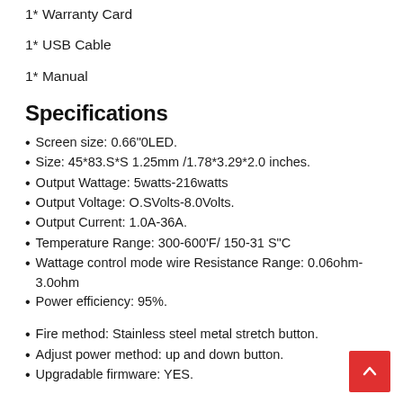1* Warranty Card
1* USB Cable
1* Manual
Specifications
Screen size: 0.66"0LED.
Size: 45*83.S*S 1.25mm /1.78*3.29*2.0 inches.
Output Wattage: 5watts-216watts
Output Voltage: O.SVolts-8.0Volts.
Output Current: 1.0A-36A.
Temperature Range: 300-600'F/ 150-31 S"C
Wattage control mode wire Resistance Range: 0.06ohm-3.0ohm
Power efficiency: 95%.
Fire method: Stainless steel metal stretch button.
Adjust power method: up and down button.
Upgradable firmware: YES.